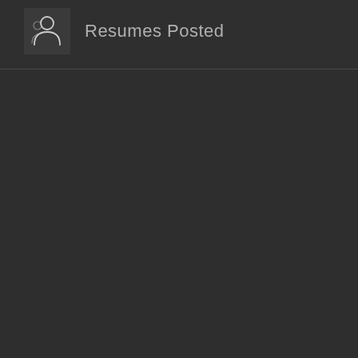[Figure (illustration): Person/user icon — outline silhouette of a person (head circle and shoulders) in white on dark grey square background]
Resumes Posted